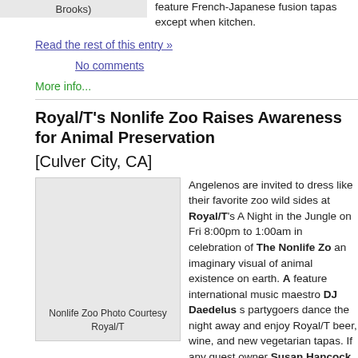Brooks)
feature French-Japanese fusion tapas except when kitchen.
Read the rest of this entry »
No comments
More info...
Royal/T's Nonlife Zoo Raises Awareness for Animal Preservation
[Culver City, CA]
[Figure (photo): Nonlife Zoo Photo Courtesy Royal/T - gray placeholder image]
Nonlife Zoo Photo Courtesy Royal/T
Angelenos are invited to dress like their favorite zoo wild sides at Royal/T's A Night in the Jungle on Fri 8:00pm to 1:00am in celebration of The Nonlife Zo an imaginary visual of animal existence on earth. A feature international music maestro DJ Daedelus s partygoers dance the night away and enjoy Royal/T beer, wine, and new vegetarian tapas. If any guest owner Susan Hancock will provide animal card ene throughout the space will be available courtesy of a Royale. The Nonlife Zoo residency, presented by R MollaSpace, raises awareness and funds for anima
Read the rest of this entr